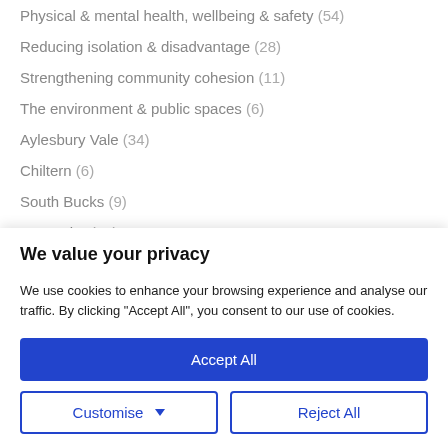Physical & mental health, wellbeing & safety (54)
Reducing isolation & disadvantage (28)
Strengthening community cohesion (11)
The environment & public spaces (6)
Aylesbury Vale (34)
Chiltern (6)
South Bucks (9)
Wycombe (19)
We value your privacy
We use cookies to enhance your browsing experience and analyse our traffic. By clicking "Accept All", you consent to our use of cookies.